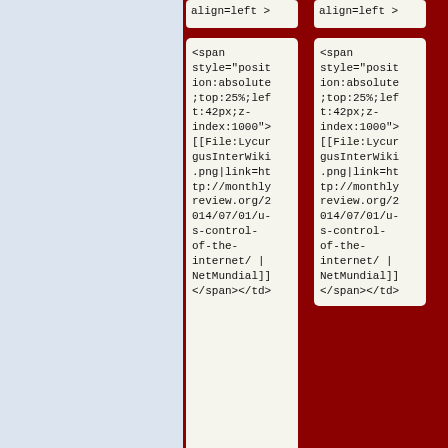[Figure (screenshot): Screenshot of wiki markup / HTML source code showing two side-by-side code cards. Top partial row shows 'align=left >' in both columns. Main large cards show HTML/wiki markup: <span style="position:absolute;top:25%;left:42px;z-index:1000">[[File:LycurgusInterWiki.png|link=http://monthlyreview.org/2014/07/01/u-s-control-of-the-internet/ | NetMundial]]</span></td>. Bottom partial row shows <td width=33% align=center in both columns.]